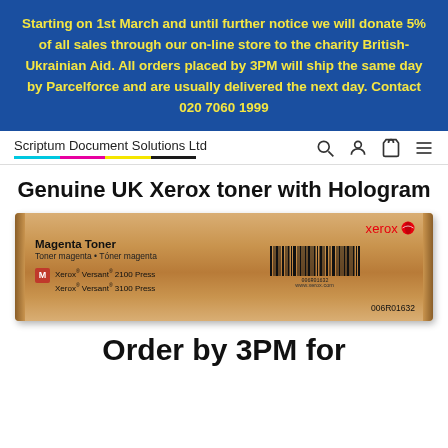Starting on 1st March and until further notice we will donate 5% of all sales through our on-line store to the charity British-Ukrainian Aid. All orders placed by 3PM will ship the same day by Parcelforce and are usually delivered the next day. Contact 020 7060 1999
Scriptum Document Solutions Ltd
Genuine UK Xerox toner with Hologram
[Figure (photo): Xerox Versant Magenta Toner box (006R01632) for Xerox Versant 2100 Press and 3100 Press, showing the toner cartridge packaging in brown/cardboard color with Xerox logo, barcode, and product details.]
Order by 3PM for